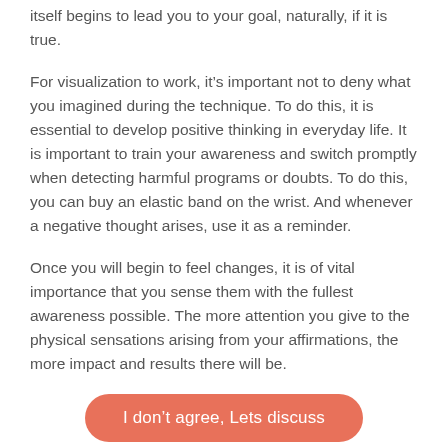itself begins to lead you to your goal, naturally, if it is true.
For visualization to work, it’s important not to deny what you imagined during the technique. To do this, it is essential to develop positive thinking in everyday life. It is important to train your awareness and switch promptly when detecting harmful programs or doubts. To do this, you can buy an elastic band on the wrist. And whenever a negative thought arises, use it as a reminder.
Once you will begin to feel changes, it is of vital importance that you sense them with the fullest awareness possible. The more attention you give to the physical sensations arising from your affirmations, the more impact and results there will be.
I don’t agree, Lets discuss